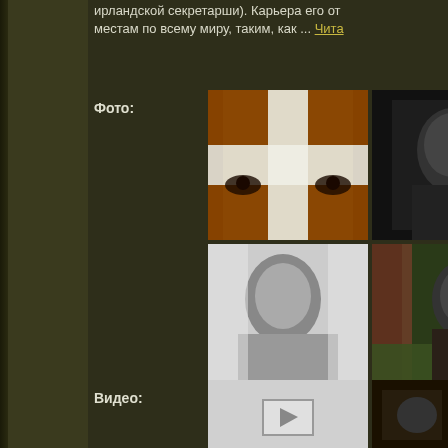ирландской секретарши). Карьера его от местам по всему миру, таким, как ... Читa
Фото:
[Figure (photo): Four photos in a 2x2 grid: top-left is a cross with eyes visible, top-right is a dark portrait, bottom-left is a black and white portrait, bottom-right is a man sitting outdoors]
Все фотографии "
Видео:
[Figure (photo): Two video thumbnails at the bottom of the page]